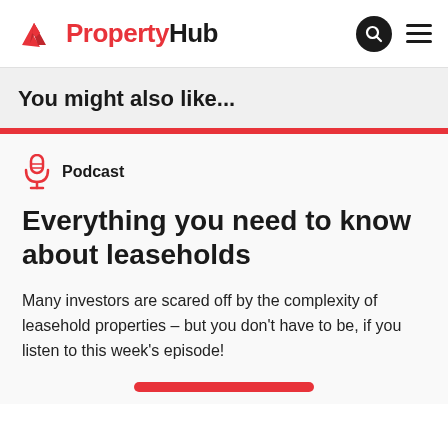PropertyHub
You might also like...
Podcast
Everything you need to know about leaseholds
Many investors are scared off by the complexity of leasehold properties – but you don't have to be, if you listen to this week's episode!